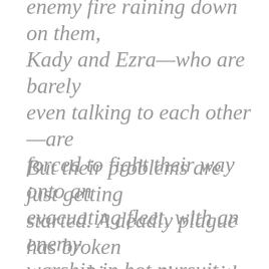enemy fire raining down on them, Kady and Ezra—who are barely even talking to each other—are forced to fight their way onto an evacuating fleet, with an enemy warship in hot pursuit.
But their problems are just getting started. A deadly plague has broken out and is mutating, with terrifying results; the fleet's AI, which should be protecting them, may actually be their enemy; and nobody in charge